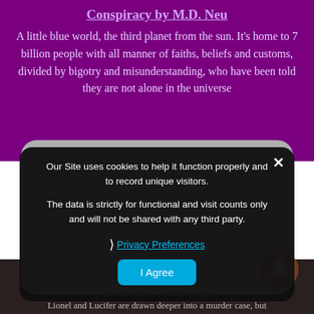Conspiracy by M.D. Neu
A little blue world, the third planet from the sun. It’s home to 7 billion people with all manner of faiths, beliefs and customs, divided by bigotry and misunderstanding, who have been told they are not alone in the universe
Our Site uses cookies to help it function properly and to record unique visitors.

The data is strictly for functional and visit counts only and will not be shared with any third party.
Privacy Preferences
I Agree
The Devil’s ... Alexa Piper
Lionel and Lucifer are drawn deeper into a murder case, but